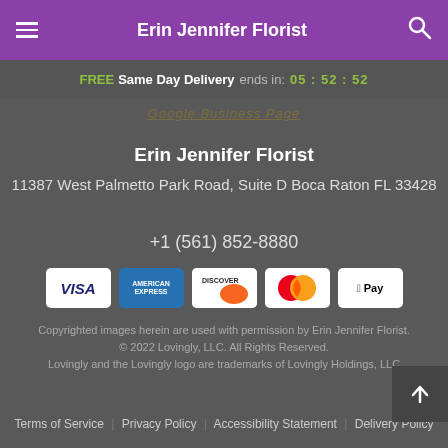Erin Jennifer Florist
FREE Same Day Delivery ends in: 05 : 52 : 52
Google Business Page
Erin Jennifer Florist
11387 West Palmetto Park Road, Suite D Boca Raton FL 33428
+1 (561) 852-8880
[Figure (illustration): Payment method icons: VISA, American Express, Discover, Mastercard, Apple Pay]
Copyrighted images herein are used with permission by Erin Jennifer Florist.
© 2022 Lovingly, LLC. All Rights Reserved.
Lovingly and the Lovingly logo are trademarks of Lovingly Holdings, LLC
Terms of Service | Privacy Policy | Accessibility Statement | Delivery Policy